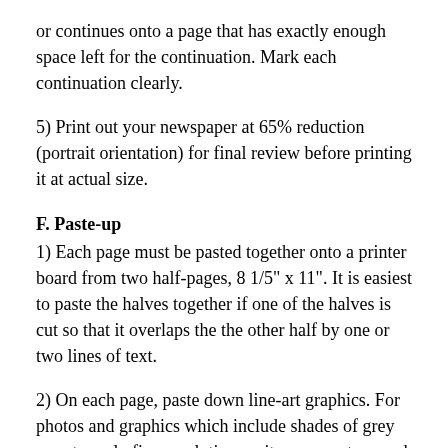or continues onto a page that has exactly enough space left for the continuation. Mark each continuation clearly.
5) Print out your newspaper at 65% reduction (portrait orientation) for final review before printing it at actual size.
F. Paste-up
1) Each page must be pasted together onto a printer board from two half-pages, 8 1/5" x 11". It is easiest to paste the halves together if one of the halves is cut so that it overlaps the the other half by one or two lines of text.
2) On each page, paste down line-art graphics. For photos and graphics which include shades of grey or extremely fine resolution, write a percentage and page